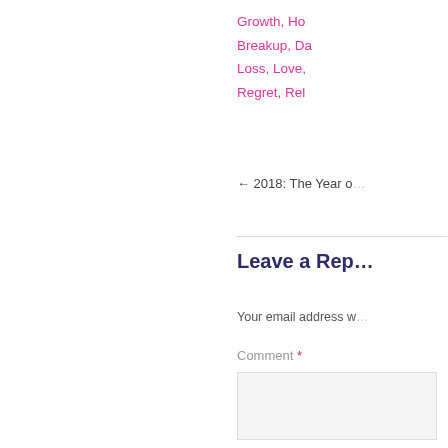[Figure (illustration): Decorative repeating tile pattern with geometric floral motifs in lavender/light purple on white background, arranged in a grid]
Growth, Ho... Breakup, Da... Loss, Love,... Regret, Rel...
← 2018: The Year o...
Leave a Rep...
Your email address w...
Comment *